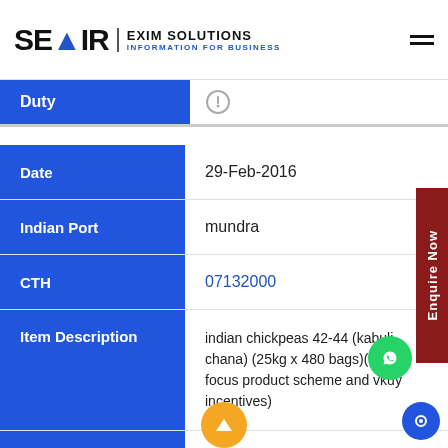SEAIR EXIM SOLUTIONS INFORMATION FOR BUSINESS
| Field | Value |
| --- | --- |
| Duty |  |
| Date | 29-Feb-2016 |
| Indian Port | mundra |
| CTH | 07132000 |
| Item Description | indian chickpeas 42-44 (kabuli chana) (25kg x 480 bags)(under focus product scheme and vkuy incentives) |
| Quantity | 120 |